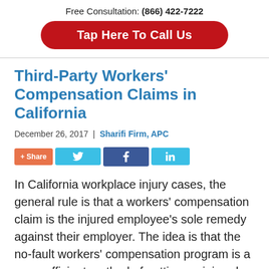Free Consultation: (866) 422-7222
Tap Here To Call Us
Third-Party Workers' Compensation Claims in California
December 26, 2017 | Sharifi Firm, APC
[Figure (other): Social sharing buttons: + Share, Twitter, Facebook, LinkedIn]
In California workplace injury cases, the general rule is that a workers' compensation claim is the injured employee's sole remedy against their employer. The idea is that the no-fault workers' compensation program is a more efficient method of getting an injured employee the compensation they need while